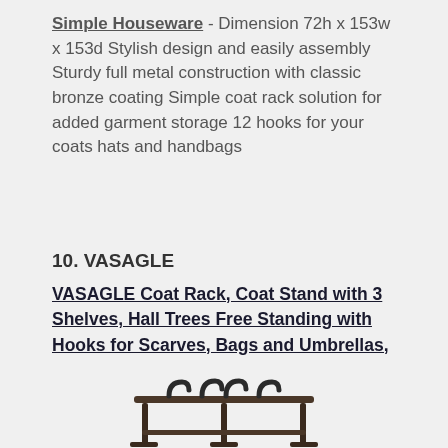Simple Houseware - Dimension 72h x 153w x 153d Stylish design and easily assembly Sturdy full metal construction with classic bronze coating Simple coat rack solution for added garment storage 12 hooks for your coats hats and handbags
10. VASAGLE
VASAGLE Coat Rack, Coat Stand with 3 Shelves, Hall Trees Free Standing with Hooks for Scarves, Bags and Umbrellas, Steel Frame, Industrial Style, Rustic Brown and Black ULCR80X
[Figure (photo): Partial bottom image of a VASAGLE coat rack with visible hooks and frame structure in rustic brown and black finish]